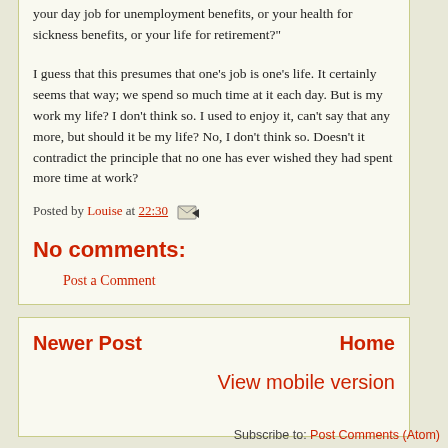your day job for unemployment benefits, or your health for sickness benefits, or your life for retirement?"
I guess that this presumes that one's job is one's life. It certainly seems that way; we spend so much time at it each day. But is my work my life? I don't think so. I used to enjoy it, can't say that any more, but should it be my life? No, I don't think so. Doesn't it contradict the principle that no one has ever wished they had spent more time at work?
Posted by Louise at 22:30
No comments:
Post a Comment
Newer Post
Home
View mobile version
Subscribe to: Post Comments (Atom)